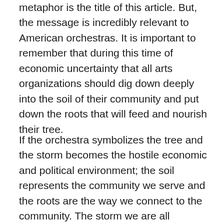metaphor is the title of this article. But, the message is incredibly relevant to American orchestras. It is important to remember that during this time of economic uncertainty that all arts organizations should dig down deeply into the soil of their community and put down the roots that will feed and nourish their tree.
If the orchestra symbolizes the tree and the storm becomes the hostile economic and political environment; the soil represents the community we serve and the roots are the way we connect to the community. The storm we are all weathering forces us to change the way we pay attention to our roots. Do we grab the earth like a stalk of corn, with one major root shooting into the soil– tall, top heavy, and draining the soil of its vital nutrients? An organization that relies too heavily one source may not be able to withstand the storm if the winds bear down upon it